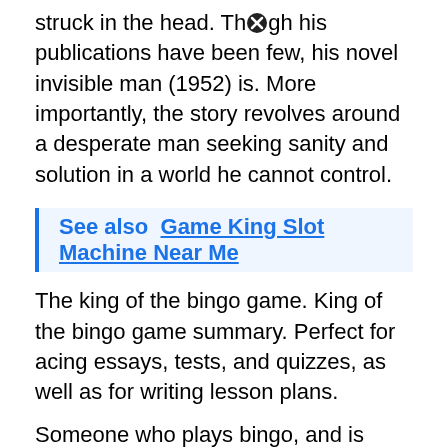struck in the head. Though his publications have been few, his novel invisible man (1952) is. More importantly, the story revolves around a desperate man seeking sanity and solution in a world he cannot control.
See also  Game King Slot Machine Near Me
The king of the bingo game. King of the bingo game summary. Perfect for acing essays, tests, and quizzes, as well as for writing lesson plans.
Someone who plays bingo, and is really good at it. One of the most discussed and praised